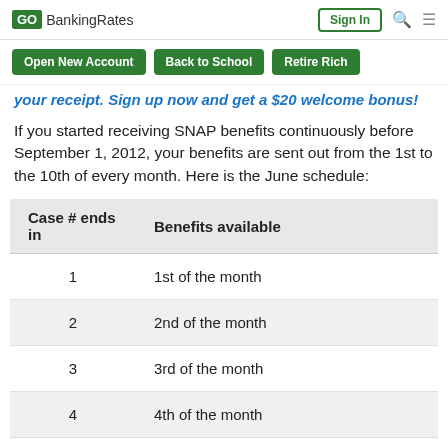GOBankingRates | Sign In
Open New Account | Back to School | Retire Rich
your receipt. Sign up now and get a $20 welcome bonus!
If you started receiving SNAP benefits continuously before September 1, 2012, your benefits are sent out from the 1st to the 10th of every month. Here is the June schedule:
| Case # ends in | Benefits available |
| --- | --- |
| 1 | 1st of the month |
| 2 | 2nd of the month |
| 3 | 3rd of the month |
| 4 | 4th of the month |